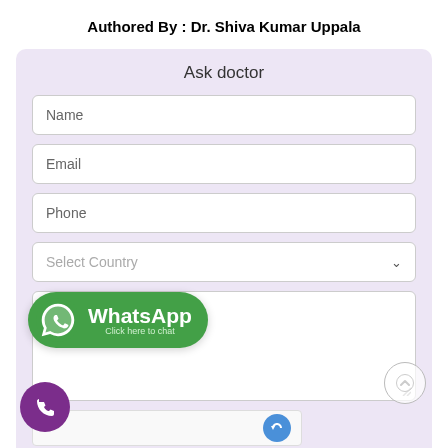Authored By : Dr. Shiva Kumar Uppala
Ask doctor
Name
Email
Phone
Select Country
[Figure (screenshot): WhatsApp click-to-chat green button overlay with WhatsApp logo, bold text 'WhatsApp' and subtext 'Click here to chat']
[Figure (screenshot): Purple circular phone/Viber button at bottom left]
[Figure (screenshot): Gray circular scroll-up arrow button at bottom right]
[Figure (screenshot): reCAPTCHA widget bar at the bottom of the form]